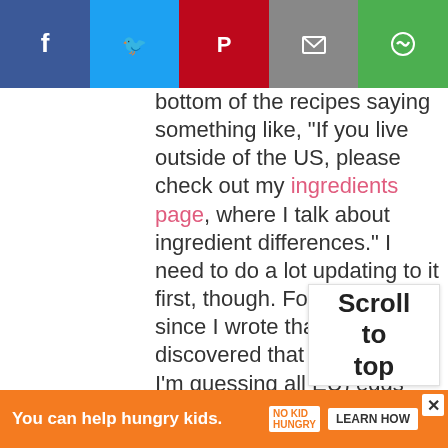[Figure (screenshot): Social share bar with Facebook (blue), Twitter (light blue), Pinterest (red), Email (grey), and Save (green) icons]
bottom of the recipes saying something like, “If you live outside of the US, please check out my ingredients page, where I talk about ingredient differences.” I need to do a lot updating to it first, though. For example, since I wrote that, I’ve discovered that German (and I’m guessing all EU) eggs are sized differently. So when I write large eggs in a recipe, Europeans need to use medium eggs. I didn’t know this the first few years I blogged and used large German eggs (which are actually American medium) and very, very rarely get a comment about a recipe not coming out well so it
Scroll to top
You can help hungry kids. NO KID HUNGRY LEARN HOW